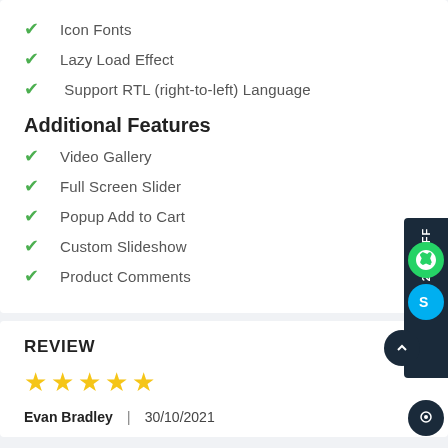Icon Fonts
Lazy Load Effect
Support RTL (right-to-left) Language
Additional Features
Video Gallery
Full Screen Slider
Popup Add to Cart
Custom Slideshow
Product Comments
REVIEW
[Figure (other): 5 gold stars rating]
Evan Bradley | 30/10/2021